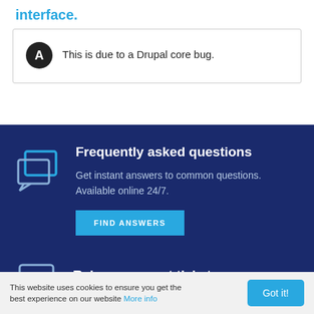interface.
This is due to a Drupal core bug.
Frequently asked questions
Get instant answers to common questions. Available online 24/7.
FIND ANSWERS
Raise a support ticket
This website uses cookies to ensure you get the best experience on our website More info
Got it!